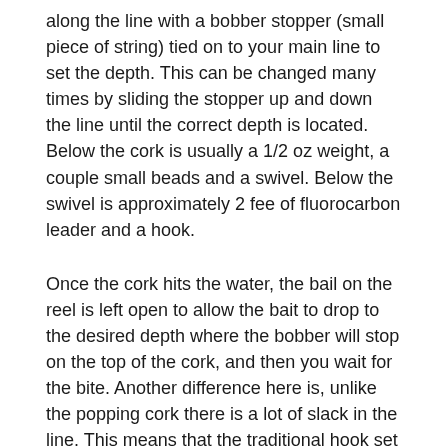along the line with a bobber stopper (small piece of string) tied on to your main line to set the depth. This can be changed many times by sliding the stopper up and down the line until the correct depth is located. Below the cork is usually a 1/2 oz weight, a couple small beads and a swivel. Below the swivel is approximately 2 fee of fluorocarbon leader and a hook.
Once the cork hits the water, the bail on the reel is left open to allow the bait to drop to the desired depth where the bobber will stop on the top of the cork, and then you wait for the bite. Another difference here is, unlike the popping cork there is a lot of slack in the line. This means that the traditional hook set might not make contact with the fish. As you see the cork disappear into the water, instead of setting the hook you will just start reeling. When you feel the line get tight, it's time for you to set the hook and again the fight is on!
Now lets talk about summer(May late August). Again